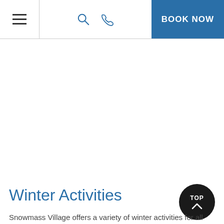≡  🔍  📞  BOOK NOW
Winter Activities
Snowmass Village offers a variety of winter activities for all